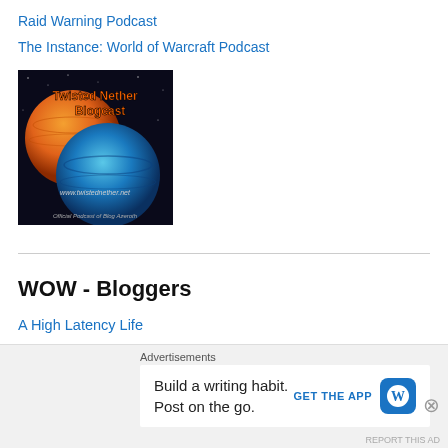Raid Warning Podcast
The Instance: World of Warcraft Podcast
[Figure (illustration): Twisted Nether Blogcast podcast cover art showing two planets (orange and blue) against a space background with text 'Twisted Nether Blogcast', 'www.twistednether.net', and 'Official Podcast of Blog Azeroth']
WOW - Bloggers
A High Latency Life
Armaggedon's Comming
Big Bear Butt Blogger
Blessing of Kings
Advertisements
Build a writing habit. Post on the go.
GET THE APP